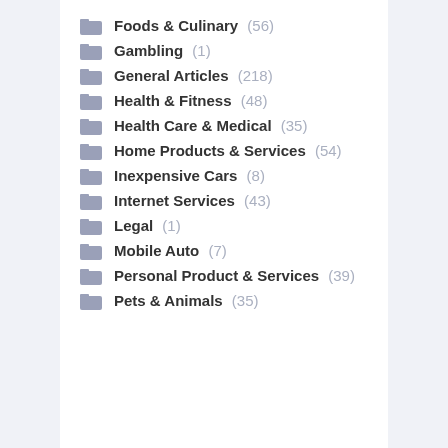Foods & Culinary (56)
Gambling (1)
General Articles (218)
Health & Fitness (48)
Health Care & Medical (35)
Home Products & Services (54)
Inexpensive Cars (8)
Internet Services (43)
Legal (1)
Mobile Auto (7)
Personal Product & Services (39)
Pets & Animals (35)